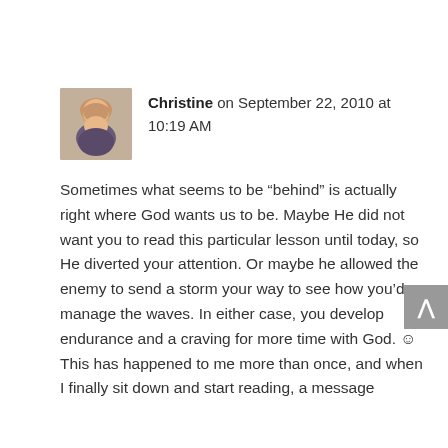[Figure (photo): Circular/square avatar photo of a woman with blonde hair]
Christine on September 22, 2010 at 10:19 AM
Sometimes what seems to be “behind” is actually right where God wants us to be. Maybe He did not want you to read this particular lesson until today, so He diverted your attention. Or maybe he allowed the enemy to send a storm your way to see how you’d manage the waves. In either case, you develop endurance and a craving for more time with God. ☺ This has happened to me more than once, and when I finally sit down and start reading, a message